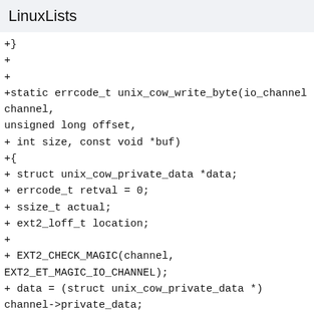LinuxLists
+}
+
+
+static errcode_t unix_cow_write_byte(io_channel channel, unsigned long offset,
+ int size, const void *buf)
+{
+ struct unix_cow_private_data *data;
+ errcode_t retval = 0;
+ ssize_t actual;
+ ext2_loff_t location;
+
+ EXT2_CHECK_MAGIC(channel, EXT2_ET_MAGIC_IO_CHANNEL);
+ data = (struct unix_cow_private_data *) channel->private_data;